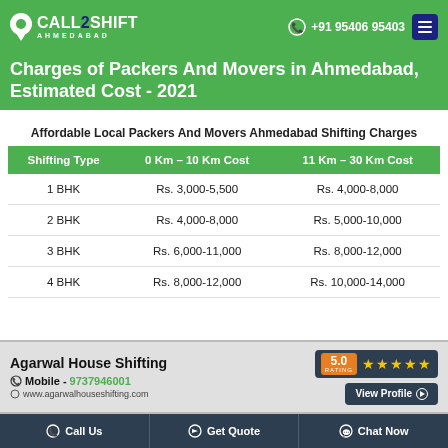[Figure (logo): Call2Shift Ahmedabad logo with phone number +91 95406 95403 and hamburger menu]
Charges of Packers And Movers in Ahmedabad, Estimated Cost - 2021
Affordable Local Packers And Movers Ahmedabad Shifting Charges
| Shifting Type | 0 Km – 10 Km Cost | 11 Km – 30 Km Cost |
| --- | --- | --- |
| 1 BHK | Rs. 3,000-5,500 | Rs. 4,000-8,000 |
| 2 BHK | Rs. 4,000-8,000 | Rs. 5,000-10,000 |
| 3 BHK | Rs. 6,000-11,000 | Rs. 8,000-12,000 |
| 4 BHK | Rs. 8,000-12,000 | Rs. 10,000-14,000 |
[Figure (infographic): Agarwal House Shifting ad banner: Mobile 9737946001, www.agarwalhouseshifting.com, 5.0 rating with stars, View Profile button]
Call Us | Get Quote | Chat Now